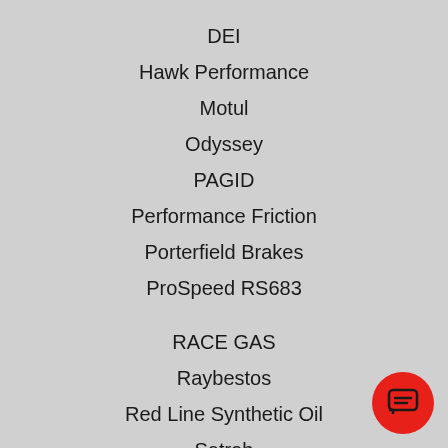DEI
Hawk Performance
Motul
Odyssey
PAGID
Performance Friction
Porterfield Brakes
ProSpeed RS683
RACE GAS
Raybestos
Red Line Synthetic Oil
Setrab
Stoptech
Tilton
Wilwood